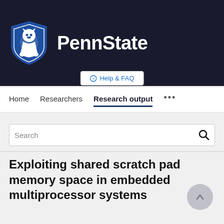[Figure (logo): Penn State university header with shield logo and PennState wordmark on dark background]
Help & FAQ
Home   Researchers   Research output   ...
Search
Exploiting shared scratch pad memory space in embedded multiprocessor systems